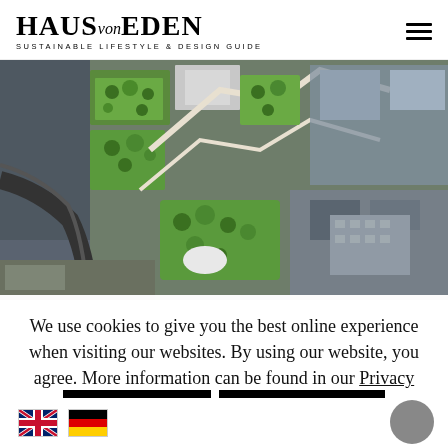[Figure (logo): HAUS von EDEN logo with tagline SUSTAINABLE LIFESTYLE & DESIGN GUIDE]
[Figure (photo): Aerial view of city blocks with green rooftop gardens and urban buildings]
We use cookies to give you the best online experience when visiting our websites. By using our website, you agree. More information can be found in our Privacy Policy
[Figure (other): Cookie consent buttons: OK and Close in black]
[Figure (other): Language flag icons: UK flag and German flag at bottom left, circular grey button at bottom right]